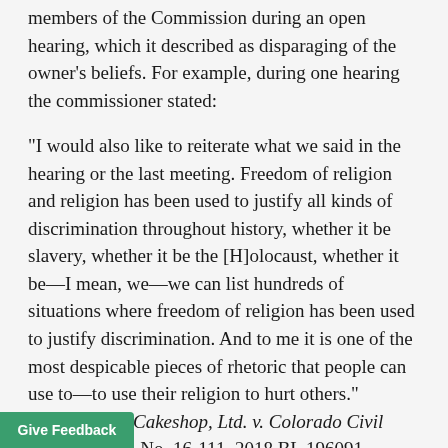members of the Commission during an open hearing, which it described as disparaging of the owner's beliefs. For example, during one hearing the commissioner stated:
"I would also like to reiterate what we said in the hearing or the last meeting. Freedom of religion and religion has been used to justify all kinds of discrimination throughout history, whether it be slavery, whether it be the [H]olocaust, whether it be—I mean, we—we can list hundreds of situations where freedom of religion has been used to justify discrimination. And to me it is one of the most despicable pieces of rhetoric that people can use to—to use their religion to hurt others." (Masterpiece Cakeshop, Ltd. v. Colorado Civil Rights Com'n, No. 16-111, 2018 BL 196091, __S.Ct.__ (2018).)
In addition to the Commission's comments, the Court other situations in which the Commission